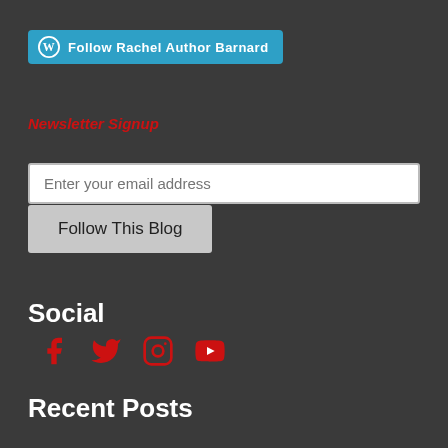[Figure (other): WordPress Follow button with W logo and text 'Follow Rachel Author Barnard' on a teal/blue background]
Newsletter Signup
[Figure (other): Email input field with placeholder text 'Enter your email address']
[Figure (other): Button labeled 'Follow This Blog']
Social
[Figure (other): Social media icons: Facebook, Twitter, Instagram, YouTube in red]
Recent Posts